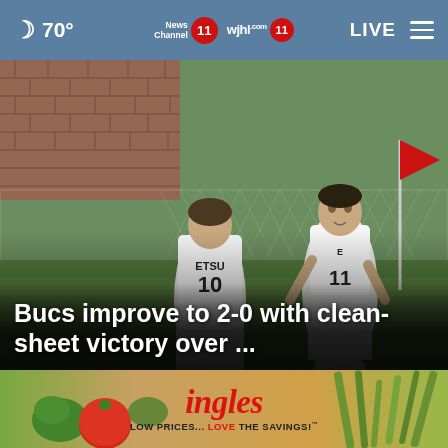70° | News Channel 11 | wjhl.com 11 | LIVE
[Figure (photo): Two ETSU soccer players in white uniforms on a green field near a corner flag; player #10 faces away, player #11 faces forward smiling, brick wall and chain-link fence in background]
Bucs improve to 2-0 with clean-sheet victory over ...
[Figure (screenshot): Video thumbnail with play button, red and blue gradient background]
[Figure (screenshot): Video thumbnail with play button, dark restaurant interior, peace hand sign icon, close X button]
[Figure (photo): Ingles grocery store advertisement banner showing vegetables including tomatoes and green peppers, with Ingles logo and tagline LOW PRICES... LOVE THE SAVINGS!]